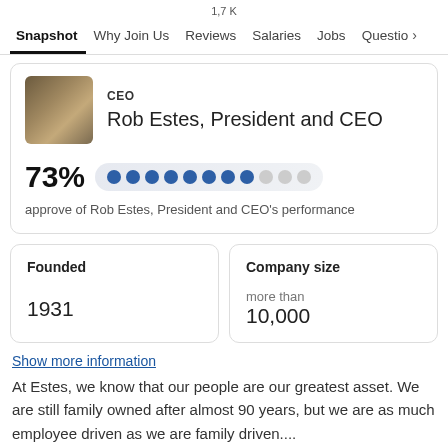Snapshot  Why Join Us  1,7K Reviews  Salaries  Jobs  Questio >
CEO
Rob Estes, President and CEO
73% approve of Rob Estes, President and CEO's performance
| Founded | Company size |
| --- | --- |
| 1931 | more than
10,000 |
Show more information
At Estes, we know that our people are our greatest asset. We are still family owned after almost 90 years, but we are as much employee driven as we are family driven....